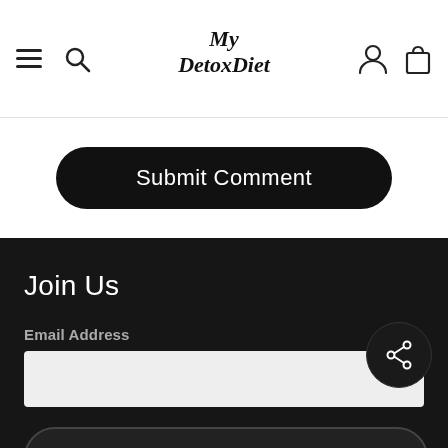My Detox Diet
Submit Comment
Join Us
Email Address
Subscribe
Shop